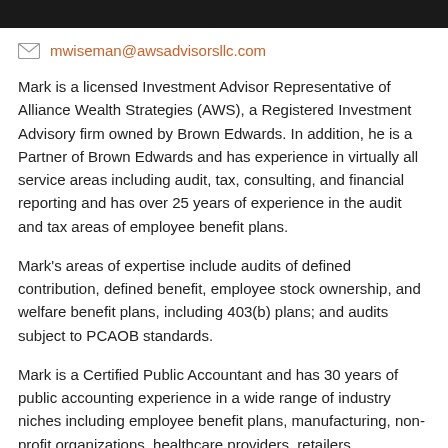mwiseman@awsadvisorsllc.com
Mark is a licensed Investment Advisor Representative of Alliance Wealth Strategies (AWS), a Registered Investment Advisory firm owned by Brown Edwards.  In addition, he is a Partner of Brown Edwards and has experience in virtually all service areas including audit, tax, consulting, and financial reporting and has over 25 years of experience in the audit and tax areas of employee benefit plans.
Mark's areas of expertise include audits of defined contribution, defined benefit, employee stock ownership, and welfare benefit plans, including 403(b) plans; and audits subject to PCAOB standards.
Mark is a Certified Public Accountant and has 30 years of public accounting experience in a wide range of industry niches including employee benefit plans, manufacturing, non-profit organizations, healthcare providers, retailers,